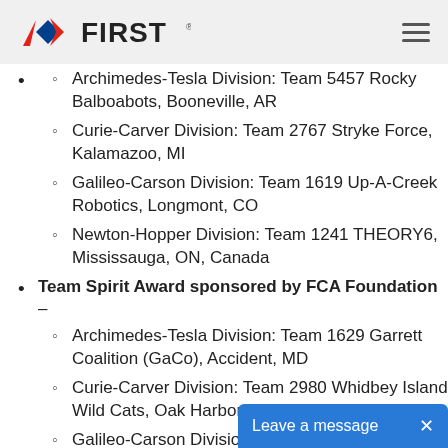FIRST (logo) — hamburger menu
Archimedes-Tesla Division: Team 5457 Rocky Balboabots, Booneville, AR
Curie-Carver Division: Team 2767 Stryke Force, Kalamazoo, MI
Galileo-Carson Division: Team 1619 Up-A-Creek Robotics, Longmont, CO
Newton-Hopper Division: Team 1241 THEORY6, Mississauga, ON, Canada
Team Spirit Award sponsored by FCA Foundation –
Archimedes-Tesla Division: Team 1629 Garrett Coalition (GaCo), Accident, MD
Curie-Carver Division: Team 2980 Whidbey Island Wild Cats, Oak Harbor, WA
Galileo-Carson Division: Team 233 The Pink Team, Rockledge/Cocoa Beach, FL
Newton-Hopper Div…